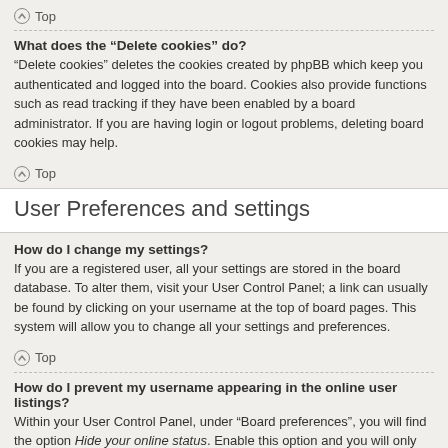Top
What does the “Delete cookies” do?
“Delete cookies” deletes the cookies created by phpBB which keep you authenticated and logged into the board. Cookies also provide functions such as read tracking if they have been enabled by a board administrator. If you are having login or logout problems, deleting board cookies may help.
Top
User Preferences and settings
How do I change my settings?
If you are a registered user, all your settings are stored in the board database. To alter them, visit your User Control Panel; a link can usually be found by clicking on your username at the top of board pages. This system will allow you to change all your settings and preferences.
Top
How do I prevent my username appearing in the online user listings?
Within your User Control Panel, under “Board preferences”, you will find the option Hide your online status. Enable this option and you will only appear to the administrators, moderators and yourself. You will be counted as a hidden user.
Top